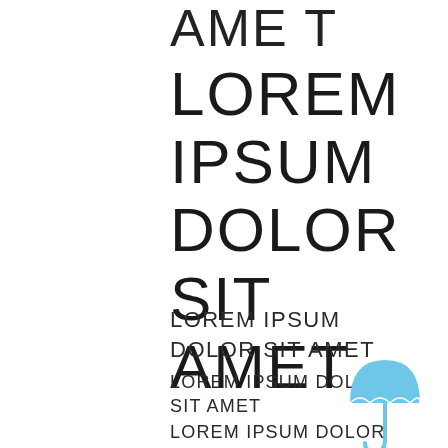AME T
LOREM IPSUM DOLOR SIT AMET
LOREM IPSUM DOLOR SIT AMET
LOREM IPSUM DOLOR SIT AMET
LOREM IPSUM DOLOR SIT AMET
LOREM IPSUM DOLOR SIT AMET
[Figure (illustration): Light blue umbrella icon with handle]